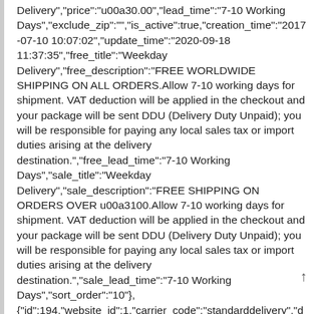Delivery","price":"u00a30.00","lead_time":"7-10 Working Days","exclude_zip":"","is_active":true,"creation_time":"2017-07-10 10:07:02","update_time":"2020-09-18 11:37:35","free_title":"Weekday Delivery","free_description":"FREE WORLDWIDE SHIPPING ON ALL ORDERS.Allow 7-10 working days for shipment. VAT deduction will be applied in the checkout and your package will be sent DDU (Delivery Duty Unpaid); you will be responsible for paying any local sales tax or import duties arising at the delivery destination.","free_lead_time":"7-10 Working Days","sale_title":"Weekday Delivery","sale_description":"FREE SHIPPING ON ORDERS OVER u00a3100.Allow 7-10 working days for shipment. VAT deduction will be applied in the checkout and your package will be sent DDU (Delivery Duty Unpaid); you will be responsible for paying any local sales tax or import duties arising at the delivery destination.","sale_lead_time":"7-10 Working Days","sort_order":"10"}, {"id":194,"website_id":1,"carrier_code":"standarddelivery","dest_country_id":"BE","description":"FREE SHIPPING ON ORDERS OVER u00a3100. Allow 3-7 working days for shipment. Paul Smith gift cards are sent separately via a third party